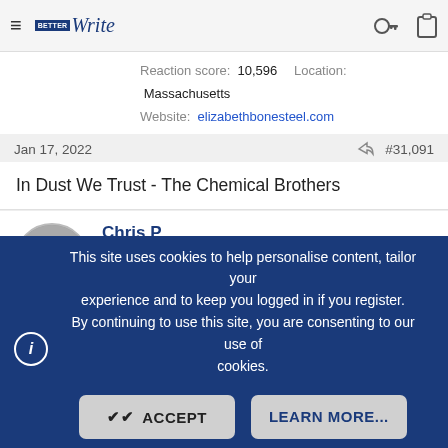≡  [logo: Write]  [key icon] [clipboard icon]
Reaction score: 10,596   Location: Massachusetts
Website: elizabethbonesteel.com
Jan 17, 2022   < share   #31,091
In Dust We Trust - The Chemical Brothers
Chris P
Likes metaphors mixed, not stirred 🧑‍🤝‍🧑 Kind Benefactor
Super Member   Registered
Joined: Nov 4, 2009   Messages: 20,507
Reaction score: 4,341   Location: Wash., D.C. area
This site uses cookies to help personalise content, tailor your experience and to keep you logged in if you register. By continuing to use this site, you are consenting to our use of cookies.

ACCEPT   LEARN MORE...